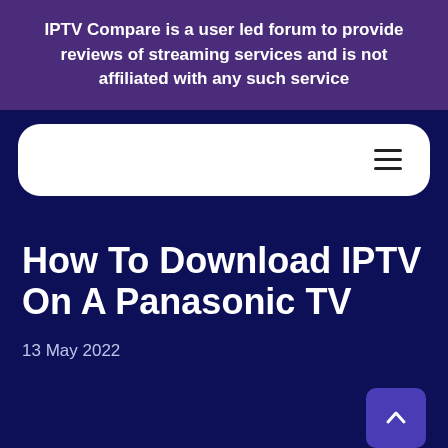IPTV Compare is a user led forum to provide reviews of streaming services and is not affiliated with any such service
[Figure (screenshot): Navigation bar with white rounded rectangle containing a hamburger menu icon on the right]
How To Download IPTV On A Panasonic TV
13 May 2022